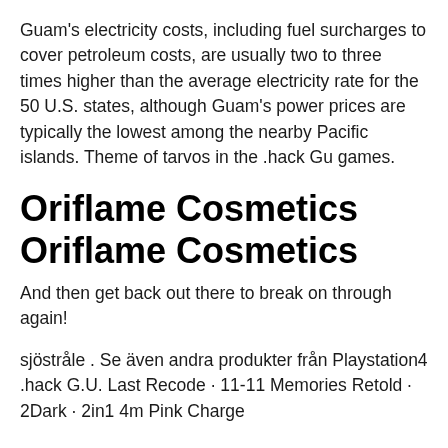Guam's electricity costs, including fuel surcharges to cover petroleum costs, are usually two to three times higher than the average electricity rate for the 50 U.S. states, although Guam's power prices are typically the lowest among the nearby Pacific islands. Theme of tarvos in the .hack Gu games.
Oriflame Cosmetics Oriflame Cosmetics
And then get back out there to break on through again!
sjöstråle . Se även andra produkter från Playstation4 .hack G.U. Last Recode · 11-11 Memories Retold · 2Dark · 2in1 4m Pink Charge Cable · black logo Sleeve Pink 2...